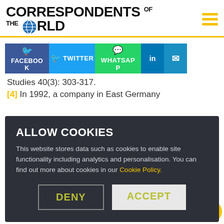CORRESPONDENTS OF THE WORLD
[Figure (infographic): Social share buttons: Facebook, Twitter, WhatsApp, LinkedIn, Email]
Studies 40(3): 303-317.
[4] In 1992, a company in East Germany
ALLOW COOKIES
This website stores data such as cookies to enable site functionality including analytics and personalisation. You can find out more about cookies in our Cookie Policy.
DENY   ACCEPT